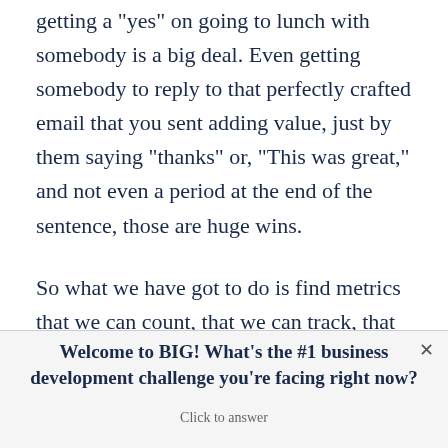getting a "yes" on going to lunch with somebody is a big deal. Even getting somebody to reply to that perfectly crafted email that you sent adding value, just by them saying "thanks" or, "This was great," and not even a period at the end of the sentence, those are huge wins.
So what we have got to do is find metrics that we can count, that we can track, that we can add up, that we can look at from time-to-time. We can use them to figure out if we are moving as quickly as we want and if we have psychological momentum. Here is how you do it.
Welcome to BIG! What's the #1 business development challenge you're facing right now? Click to answer